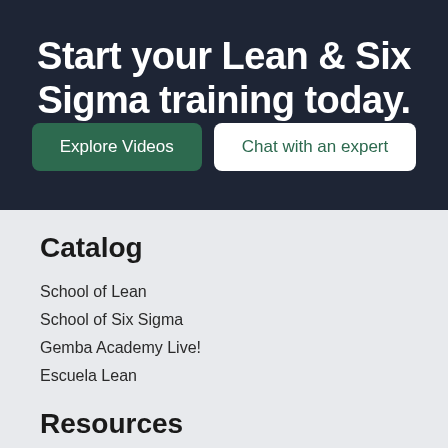Start your Lean & Six Sigma training today.
Explore Videos
Chat with an expert
Catalog
School of Lean
School of Six Sigma
Gemba Academy Live!
Escuela Lean
Resources